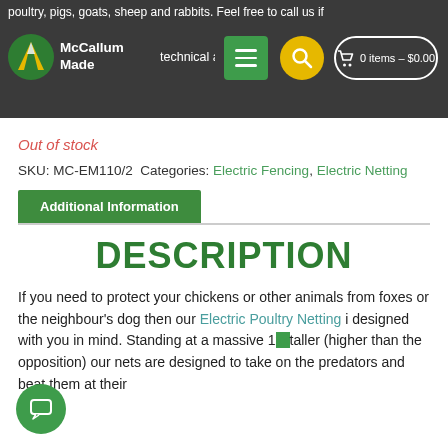poultry, pigs, goats, sheep and rabbits. Feel free to call us if technical advi... McCallum Made | 0 items – $0.00
Out of stock
SKU: MC-EM110/2 Categories: Electric Fencing, Electric Netting
Additional Information
DESCRIPTION
If you need to protect your chickens or other animals from foxes or the neighbour's dog then our Electric Poultry Netting is designed with you in mind. Standing at a massive 12... taller (higher than the opposition) our nets are designed to take on the predators and beat them at their